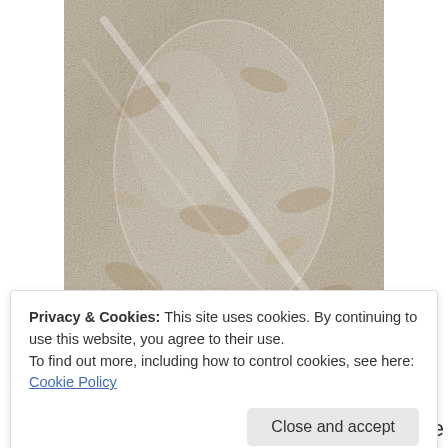[Figure (photo): A clear plastic bag containing spent grains from beer brewing, photographed from above showing grainy, damp, light-colored mass of grain husks.]
Spent grains from beer brewing resting in the deep freeze until needed for a baking project.
Privacy & Cookies: This site uses cookies. By continuing to use this website, you agree to their use.
To find out more, including how to control cookies, see here: Cookie Policy
apparent harm to the cattle. They also make up some